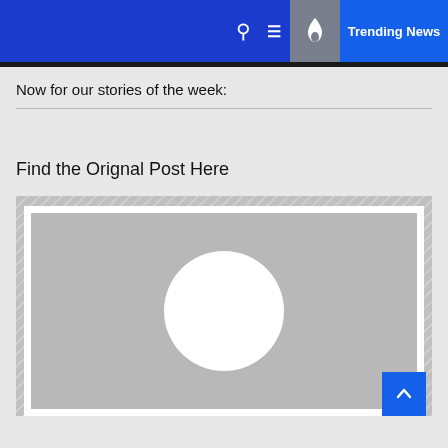Trending News
Now for our stories of the week:
Find the Orignal Post Here
[Figure (photo): Placeholder image with grey background and white circle in center, embedded in a hatched border container]